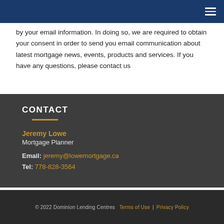by your email information. In doing so, we are required to obtain your consent in order to send you email communication about latest mortgage news, events, products and services. If you have any questions, please contact us
CONTACT
Jeremy Lowe
Mortgage Planner
Email: jeremy@lowemortgage.ca
Tel: 778-828-3564
© 2022 Dominion Lending Centres  Terms of Use  |  Privacy Policy